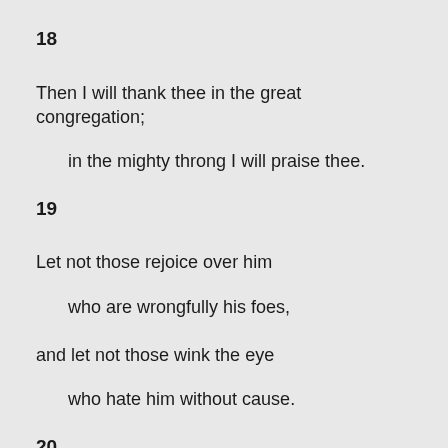18
Then I will thank thee in the great congregation;
in the mighty throng I will praise thee.
19
Let not those rejoice over him
who are wrongfully his foes,
and let not those wink the eye
who hate him without cause.
20
For they do not speak peace,